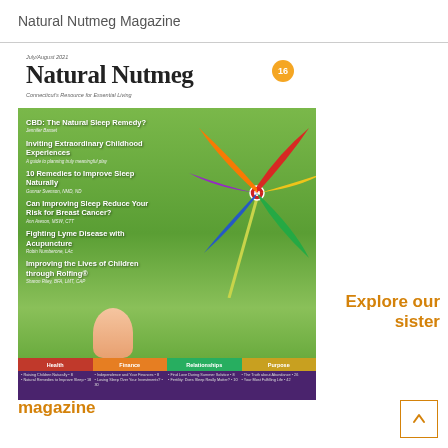Natural Nutmeg Magazine
[Figure (illustration): Cover of Natural Nutmeg Magazine, July/August 2021, issue 16. Features a colorful pinwheel held by a child's hand against a green nature background. Headlines include: CBD: The Natural Sleep Remedy?, Inviting Extraordinary Childhood Experiences, 10 Remedies to Improve Sleep Naturally, Can Improving Sleep Reduce Your Risk for Breast Cancer?, Fighting Lyme Disease with Acupuncture, Improving the Lives of Children through Rolfing®. Bottom bar shows categories: Health, Finance, Relationships, Purpose with sub-items.]
Explore our sister magazine